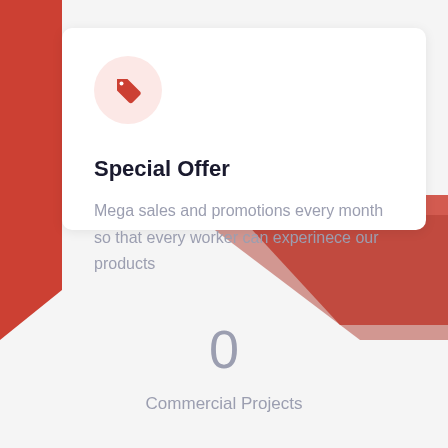[Figure (illustration): Red decorative shape on the left side of the page]
[Figure (illustration): Circular icon with a red price tag symbol on light pink/rose background]
Special Offer
Mega sales and promotions every month so that every worker can experinece our products
[Figure (illustration): Red parallelogram decorative shape in the lower middle section of the page]
0
Commercial Projects